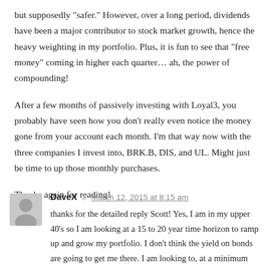but supposedly "safer." However, over a long period, dividends have been a major contributor to stock market growth, hence the heavy weighting in my portfolio. Plus, it is fun to see that "free money" coming in higher each quarter… ah, the power of compounding!
After a few months of passively investing with Loyal3, you probably have seen how you don't really even notice the money gone from your account each month. I'm that way now with the three companies I invest into, BRK.B, DIS, and UL. Might just be time to up those monthly purchases.
Thanks again for reading!
Reply
DaveX  March 12, 2015 at 8:15 am
thanks for the detailed reply Scott! Yes, I am in my upper 40's so I am looking at a 15 to 20 year time horizon to ramp up and grow my portfolio. I don't think the yield on bonds are going to get me there. I am looking to, at a minimum